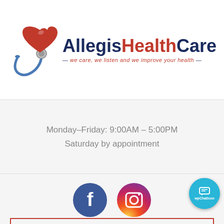[Figure (logo): Allegis HealthCare logo with red heart, stethoscope, text 'AllegisHealthCare' and tagline 'we care, we listen and we improve your health']
Monday-Friday: 9:00AM - 5:00PM
Saturday by appointment
[Figure (illustration): Facebook and Instagram social media icons as colored circles. Facebook: blue circle with white 'f'. Instagram: pink/purple gradient circle with white camera icon. WpChatIcon: blue circle with chat icon.]
Powered By EmergenceMD